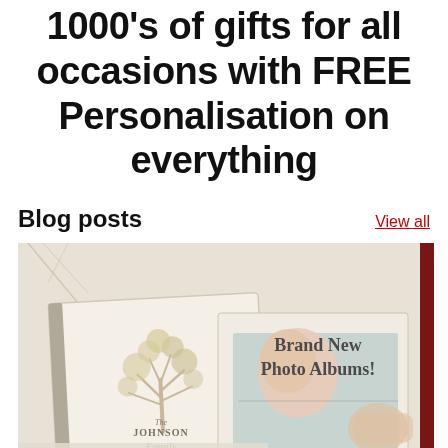1000's of gifts for all occasions with FREE Personalisation on everything
Blog posts
View all
[Figure (photo): Photo album promotional image showing a personalised family photo album with a tree design on the cover labelled 'The Johnson Family', alongside a baby photo. Text overlay reads 'Brand New Photo Albums!' and caption 'Our personalised photo']